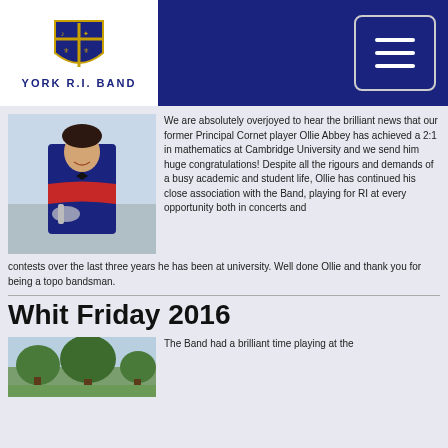YORK R.I. BAND
[Figure (photo): Young man in band uniform holding a cornet/trumpet, smiling, blue jacket with red sash]
We are absolutely overjoyed to hear the brilliant news that our former Principal Cornet player Ollie Abbey has achieved a 2:1 in mathematics at Cambridge University and we send him huge congratulations! Despite all the rigours and demands of a busy academic and student life, Ollie has continued his close association with the Band, playing for RI at every opportunity both in concerts and contests over the last three years he has been at university. Well done Ollie and thank you for being a topo bandsman.
Whit Friday 2016
[Figure (photo): Outdoor scene with trees, appears to be a park or green area]
The Band had a brilliant time playing at the